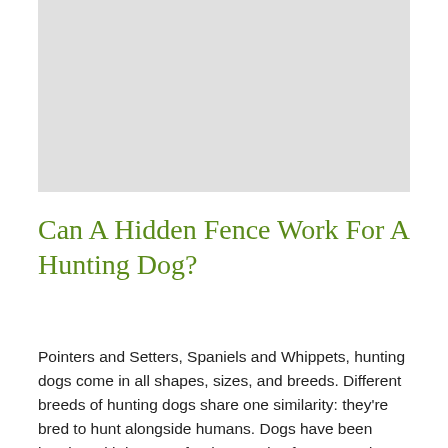[Figure (photo): Gray placeholder image area at the top of the page]
Can A Hidden Fence Work For A Hunting Dog?
Pointers and Setters, Spaniels and Whippets, hunting dogs come in all shapes, sizes, and breeds. Different breeds of hunting dogs share one similarity: they're bred to hunt alongside humans. Dogs have been hunting with humans for thousands of years, and